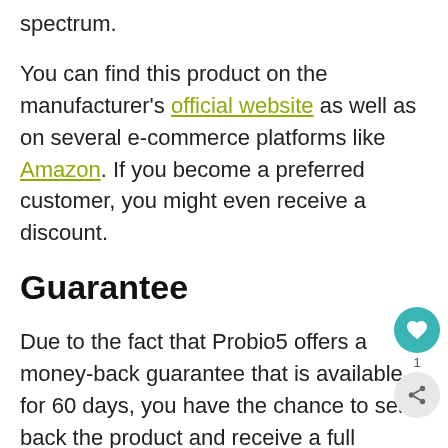spectrum.
You can find this product on the manufacturer's official website as well as on several e-commerce platforms like Amazon. If you become a preferred customer, you might even receive a discount.
Guarantee
Due to the fact that Probio5 offers a money-back guarantee that is available for 60 days, you have the chance to send back the product and receive a full refund. You can return this supplement if you don't like its effects or if you feel it doesn't really work for you. Moreover, you have between 15 and